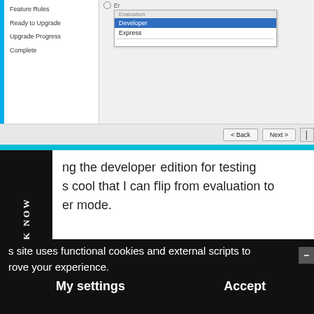[Figure (screenshot): SQL Server installer screenshot showing edition selection dropdown with Developer highlighted in blue, and Express below it. Left sidebar shows: Feature Rules, Ready to Upgrade, Upgrade Progress, Complete. Navigation buttons Back and Next visible at bottom.]
ing the developer edition for testing is cool that I can flip from evaluation to er mode.
s site uses functional cookies and external scripts to rove your experience.
My settings   Accept
These license terms are an agreement between Microsoft Corporation (or based on wh... live, one of its affiliates) and you. Please read them. They apply to the software p...